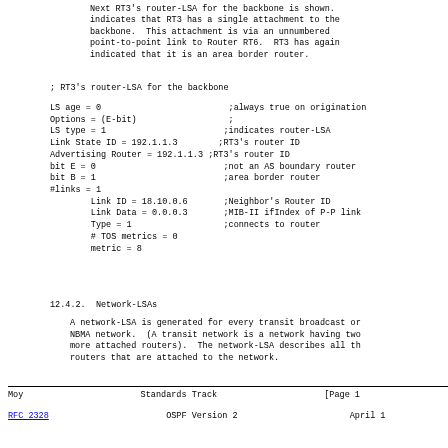Next RT3's router-LSA for the backbone is shown. indicates that RT3 has a single attachment to the backbone.  This attachment is via an unnumbered point-to-point link to Router RT6.  RT3 has again indicated that it is an area border router.
; RT3's router-LSA for the backbone
LS age = 0                         ;always true on origination
Options = (E-bit)                  ;
LS type = 1                        ;indicates router-LSA
Link State ID = 192.1.1.3          ;RT3's router ID
Advertising Router = 192.1.1.3     ;RT3's router ID
bit E = 0                          ;not an AS boundary router
bit B = 1                          ;area border router
#links = 1
        Link ID = 18.10.0.6        ;Neighbor's Router ID
        Link Data = 0.0.0.3        ;MIB-II ifIndex of P-P link
        Type = 1                   ;connects to router
        # TOS metrics = 0
        metric = 8
12.4.2.  Network-LSAs
A network-LSA is generated for every transit broadcast or NBMA network.  (A transit network is a network having two more attached routers).  The network-LSA describes all th routers that are attached to the network.
Moy                         Standards Track                    [Page 1
RFC 2328                     OSPF Version 2                      April 1